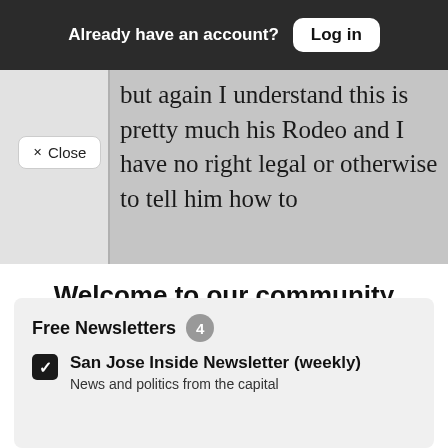Already have an account? Log in
but again I understand this is pretty much his Rodeo and I have no right legal or otherwise to tell him how to
✓ Close
Welcome to our community
Sign in or register for email updates and this box won't appear again. We're grateful for your support.
By registering you confirm you are 21+.
Free Newsletters 4
San Jose Inside Newsletter (weekly)
News and politics from the capital